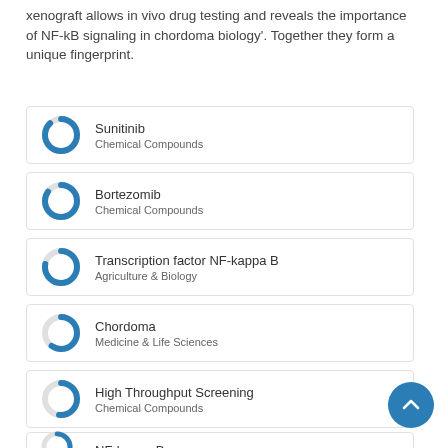xenograft allows in vivo drug testing and reveals the importance of NF-kB signaling in chordoma biology'. Together they form a unique fingerprint.
Sunitinib — Chemical Compounds
Bortezomib — Chemical Compounds
Transcription factor NF-kappa B — Agriculture & Biology
Chordoma — Medicine & Life Sciences
High Throughput Screening — Chemical Compounds
NF-kappa B — (partial, cut off)